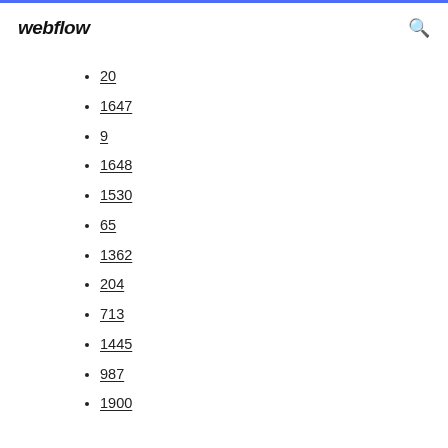webflow
20
1647
9
1648
1530
65
1362
204
713
1445
987
1900